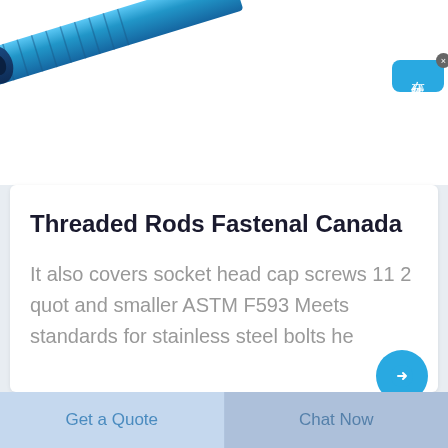[Figure (photo): Blue threaded rod/pipe product photo, partially visible at top-left corner]
[Figure (screenshot): Chinese live chat widget button on the right side, blue rounded rectangle with text 在线咨询 (online consultation) and close X button]
Threaded Rods Fastenal Canada
It also covers socket head cap screws 11 2 quot and smaller ASTM F593 Meets standards for stainless steel bolts he
Get a Quote
Chat Now